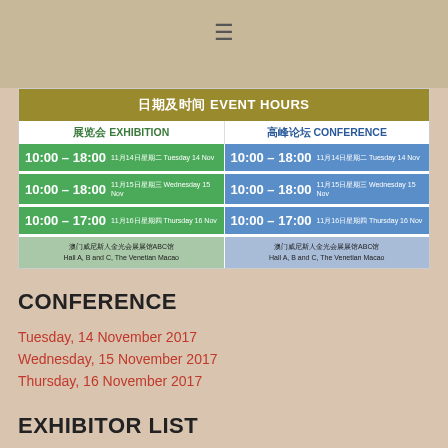[Figure (other): Hamburger menu icon at the top center of the page]
| 展览会 EXHIBITION | 高峰论坛 CONFERENCE |
| --- | --- |
| 10:00 – 18:00  11月14日星期二 Tuesday 14 Nov | 10:00 – 18:00  11月14日星期二 Tuesday 14 Nov |
| 10:00 – 18:00  11月15日星期三 Wednesday 15 Nov | 10:00 – 18:00  11月15日星期三 Wednesday 15 Nov |
| 10:00 – 17:00  11月16日星期四 Thursday 16 Nov | 10:00 – 17:00  11月16日星期四 Thursday 16 Nov |
| 澳门威尼斯人金光会展展馆ABC馆
Hall A, B and C, The Venetian Macao | 澳门威尼斯人金光会展展馆ABC馆
Hall A, B and C, The Venetian Macao |
CONFERENCE
Tuesday, 14 November 2017
Wednesday, 15 November 2017
Thursday, 16 November 2017
EXHIBITOR LIST